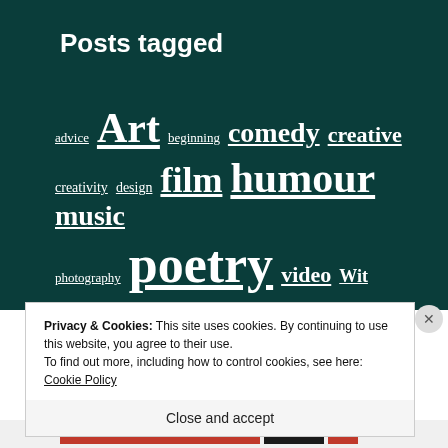Posts tagged
advice Art beginning comedy creative creativity design film humour music photography poetry video Wit writing
Privacy & Cookies: This site uses cookies. By continuing to use this website, you agree to their use.
To find out more, including how to control cookies, see here:
Cookie Policy
Close and accept